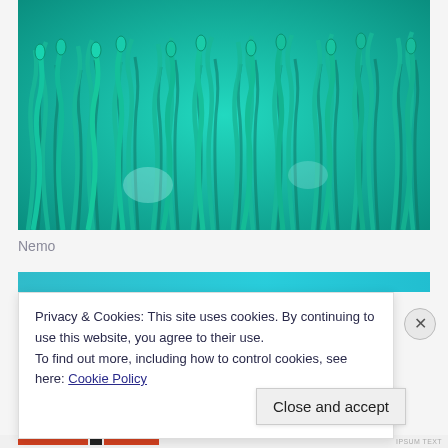[Figure (photo): Underwater photograph of sea anemone tentacles in teal/green hues, close-up macro shot showing many finger-like tentacles against a turquoise background]
Nemo
[Figure (photo): Partial view of a second underwater image, mostly obscured by cookie banner, showing teal/cyan tones similar to coral or anemone]
Privacy & Cookies: This site uses cookies. By continuing to use this website, you agree to their use.
To find out more, including how to control cookies, see here: Cookie Policy
Close and accept